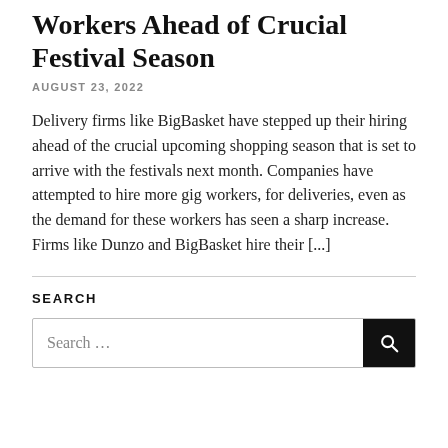Workers Ahead of Crucial Festival Season
AUGUST 23, 2022
Delivery firms like BigBasket have stepped up their hiring ahead of the crucial upcoming shopping season that is set to arrive with the festivals next month. Companies have attempted to hire more gig workers, for deliveries, even as the demand for these workers has seen a sharp increase. Firms like Dunzo and BigBasket hire their [...]
SEARCH